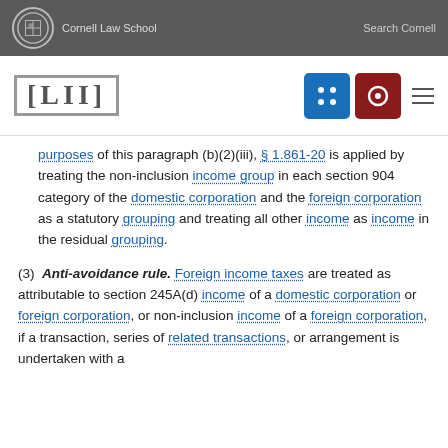Cornell Law School | Search Cornell
[LII]
purposes of this paragraph (b)(2)(iii), § 1.861-20 is applied by treating the non-inclusion income group in each section 904 category of the domestic corporation and the foreign corporation as a statutory grouping and treating all other income as income in the residual grouping.
(3) Anti-avoidance rule. Foreign income taxes are treated as attributable to section 245A(d) income of a domestic corporation or foreign corporation, or non-inclusion income of a foreign corporation, if a transaction, series of related transactions, or arrangement is undertaken with a